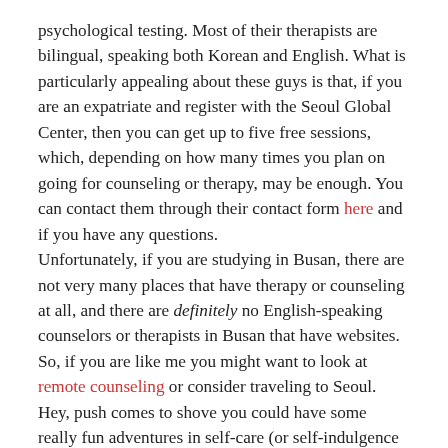psychological testing. Most of their therapists are bilingual, speaking both Korean and English. What is particularly appealing about these guys is that, if you are an expatriate and register with the Seoul Global Center, then you can get up to five free sessions, which, depending on how many times you plan on going for counseling or therapy, may be enough. You can contact them through their contact form here and if you have any questions.
Unfortunately, if you are studying in Busan, there are not very many places that have therapy or counseling at all, and there are definitely no English-speaking counselors or therapists in Busan that have websites. So, if you are like me you might want to look at remote counseling or consider traveling to Seoul. Hey, push comes to shove you could have some really fun adventures in self-care (or self-indulgence as it may be) before or after your sessions. I've read that the train ride is super comfortable and cheap.